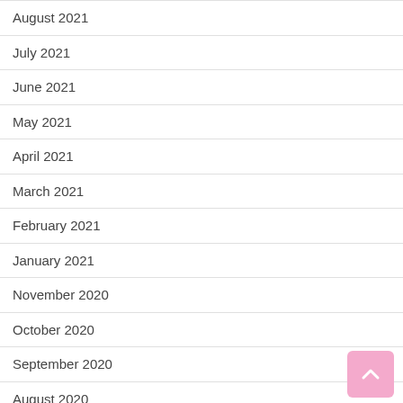August 2021
July 2021
June 2021
May 2021
April 2021
March 2021
February 2021
January 2021
November 2020
October 2020
September 2020
August 2020
June 2020
May 2020
April 2020